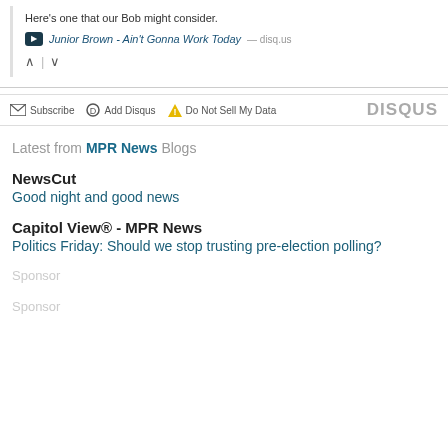Here’s one that our Bob might consider.
Junior Brown - Ain’t Gonna Work Today — disq.us
∧ | ∨
Subscribe  Add Disqus  Do Not Sell My Data  DISQUS
Latest from MPR News Blogs
NewsCut
Good night and good news
Capitol View® - MPR News
Politics Friday: Should we stop trusting pre-election polling?
Sponsor
Sponsor